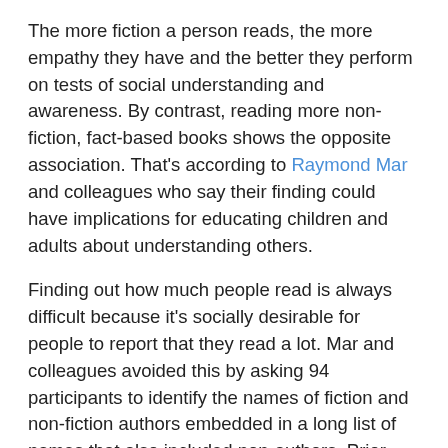The more fiction a person reads, the more empathy they have and the better they perform on tests of social understanding and awareness. By contrast, reading more non-fiction, fact-based books shows the opposite association. That's according to Raymond Mar and colleagues who say their finding could have implications for educating children and adults about understanding others.
Finding out how much people read is always difficult because it's socially desirable for people to report that they read a lot. Mar and colleagues avoided this by asking 94 participants to identify the names of fiction and non-fiction authors embedded in a long list of names that also included non-authors. Prior research has shown this test correlates well with how much people actually read. Among the authors listed were Matt Ridley, Naomi Wolf (non-fiction), Toni Morrison and PD James (fiction).
The more authors of fiction that a participant recognised, the higher they tended to score on measures of social awareness and tests of empathy – for example being able to